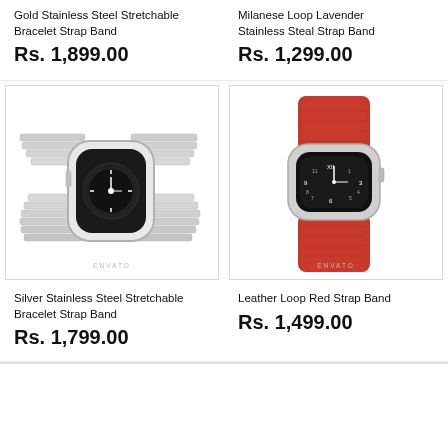Gold Stainless Steel Stretchable Bracelet Strap Band
Rs. 1,899.00
Milanese Loop Lavender Stainless Steal Strap Band
Rs. 1,299.00
[Figure (photo): Silver Apple Watch with silver stainless steel stretchable bracelet strap band, ENVATO watermark]
[Figure (photo): Silver Apple Watch with red leather loop strap band, ENVATO watermark]
Silver Stainless Steel Stretchable Bracelet Strap Band
Rs. 1,799.00
Leather Loop Red Strap Band
Rs. 1,499.00